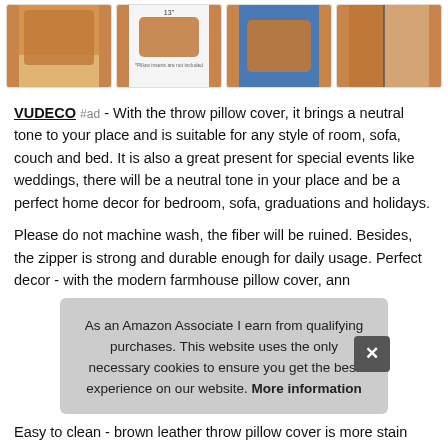[Figure (photo): Row of four product thumbnail images showing brown leather throw pillow covers]
VUDECO #ad - With the throw pillow cover, it brings a neutral tone to your place and is suitable for any style of room, sofa, couch and bed. It is also a great present for special events like weddings, there will be a neutral tone in your place and be a perfect home decor for bedroom, sofa, graduations and holidays.
Please do not machine wash, the fiber will be ruined. Besides, the zipper is strong and durable enough for daily usage. Perfect decor - with the modern farmhouse pillow cover, ann
As an Amazon Associate I earn from qualifying purchases. This website uses the only necessary cookies to ensure you get the best experience on our website. More information
Easy to clean - brown leather throw pillow cover is more stain